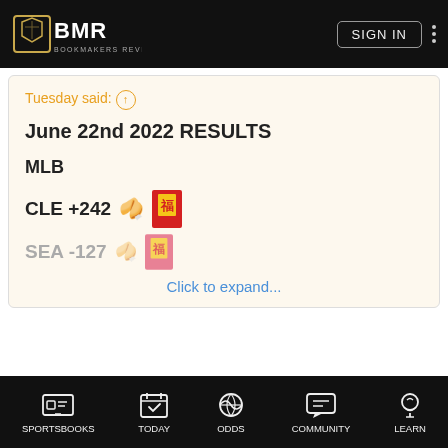BMR Bookmakers Review | SIGN IN
Tuesday said: ↑
June 22nd 2022 RESULTS
MLB
CLE +242
SEA -127
Click to expand...
474 - 370 = +68.81
Bookmakers Review uses cookies to help us improve your experience in accordance with our Privacy Policy.
ACCEPT & CLOSE
SPORTSBOOKS | TODAY | ODDS | COMMUNITY | LEARN